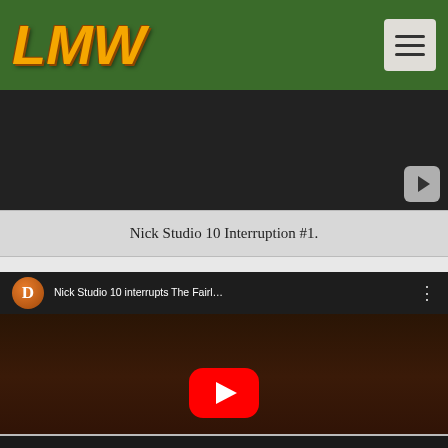LMW (logo) — navigation menu button
[Figure (screenshot): Partial video player thumbnail with dark background and small play button in bottom-right corner]
Nick Studio 10 Interruption #1.
[Figure (screenshot): YouTube embedded video showing 'Nick Studio 10 interrupts The Fairl...' with cartoon characters on a TV screen. Large red YouTube play button in center. 'Watch on YouTube' bar at bottom.]
Nick Studio 10 Interruption #2.
[Figure (screenshot): Partial view of a third video card at the very bottom of the page, showing only the dark top edge.]